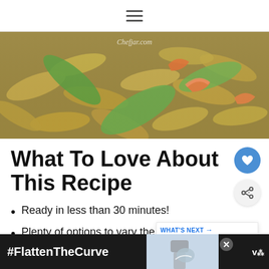≡ (hamburger menu icon)
[Figure (photo): Close-up food photo of edamame/beans with shrimp and snow peas, with watermark 'Chefjar.com']
What To Love About This Recipe
Ready in less than 30 minutes!
Plenty of options to vary the recipe, like gluten free, vegetarian,
[Figure (infographic): WHAT'S NEXT overlay with thumbnail of Easy Creamy Salmon... recipe]
[Figure (infographic): Ad banner: #FlattenTheCurve with image of hand washing and close button]